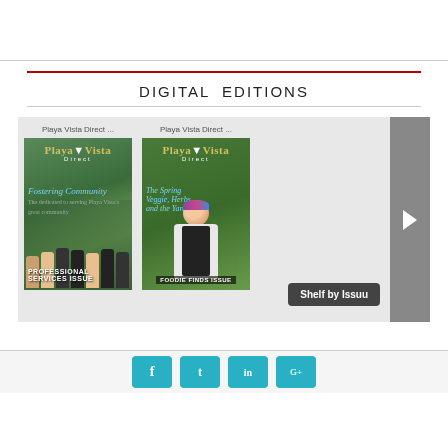DIGITAL EDITIONS
[Figure (screenshot): A digital magazine shelf showing two Playa Vista Direct magazine covers. First cover shows a group photo with text 'Fostering Community' and 'Professional Services Issue'. Second cover shows a chef holding vegetables with text 'Foodie Finds Issue'. A right-arrow navigation button and 'Shelf by Issuu' label are visible.]
[Figure (infographic): Row of four teal/blue social media icon buttons at the bottom of the page]